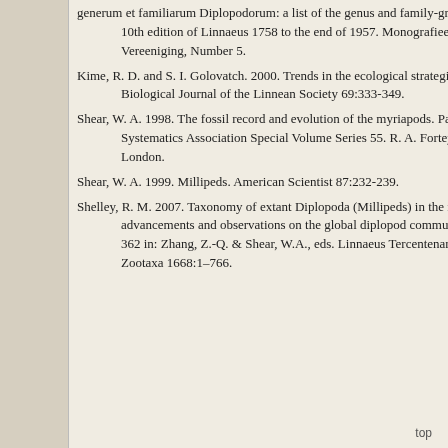generum et familiarum Diplopodorum: a list of the genus and family-group names in the Class Diplopoda from the 10th edition of Linnaeus 1758 to the end of 1957. Monografieen van de Nederlandsche Entomologische Vereeniging, Number 5.
Kime, R. D. and S. I. Golovatch. 2000. Trends in the ecological strategies and evolution of millipedes (Diplopoda). Biological Journal of the Linnean Society 69:333-349.
Shear, W. A. 1998. The fossil record and evolution of the myriapods. Pages 211-220 in Arthropod Relationships. Systematics Association Special Volume Series 55. R. A. Fortey and R. H. Thomas, eds. Chapman & Hall, London.
Shear, W. A. 1999. Millipeds. American Scientist 87:232-239.
Shelley, R. M. 2007. Taxonomy of extant Diplopoda (Millipeds) in the modern era: Perspectives for future advancements and observations on the global diplopod community (Arthropoda: Diplopoda). Pages 343-362 in: Zhang, Z.-Q. & Shear, W.A., eds. Linnaeus Tercentenary: Progress in Invertebrate Taxonomy. Zootaxa 1668:1–766.